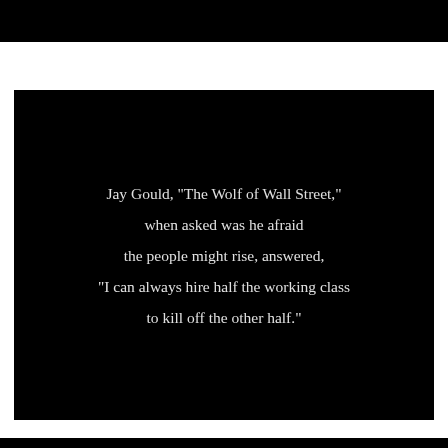[Figure (screenshot): Black background image with white text quote attributed to Jay Gould]
Jay Gould, "The Wolf of Wall Street," when asked was he afraid the people might rise, answered, "I can always hire half the working class to kill off the other half."